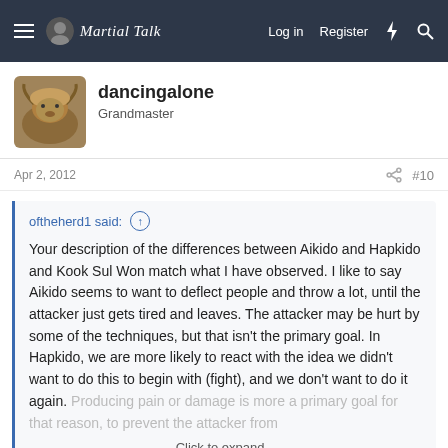Martial Talk — Log in  Register
dancingalone
Grandmaster
Apr 2, 2012  #10
oftheherd1 said:
Your description of the differences between Aikido and Hapkido and Kook Sul Won match what I have observed. I like to say Aikido seems to want to deflect people and throw a lot, until the attacker just gets tired and leaves. The attacker may be hurt by some of the techniques, but that isn't the primary goal. In Hapkido, we are more likely to react with the idea we didn't want to do this to begin with (fight), and we don't want to do it again. Producing pain or damage is more a primary goal for that reason, to prevent the attacker from
Click to expand...
Indeed for the most part. We do train to end hostilities quickly however - obviously you don't want to let an attacker attack